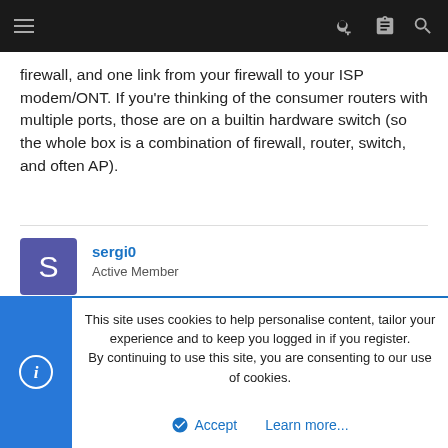Navigation bar with hamburger menu and icons
firewall, and one link from your firewall to your ISP modem/ONT. If you're thinking of the consumer routers with multiple ports, those are on a builtin hardware switch (so the whole box is a combination of firewall, router, switch, and often AP).
sergi0 — Active Member — Jun 8, 2022 — #391
This site uses cookies to help personalise content, tailor your experience and to keep you logged in if you register. By continuing to use this site, you are consenting to our use of cookies.